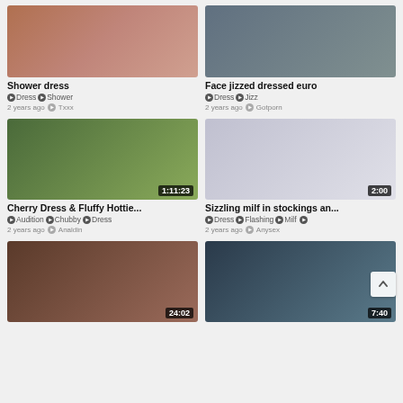[Figure (screenshot): Video thumbnail - Shower dress]
Shower dress
Dress  Shower
2 years ago  Txxx
[Figure (screenshot): Video thumbnail - Face jizzed dressed euro]
Face jizzed dressed euro
Dress  Jizz
2 years ago  Gotporn
[Figure (screenshot): Video thumbnail 1:11:23 - Cherry Dress & Fluffy Hottie...]
Cherry Dress & Fluffy Hottie...
Audition  Chubby  Dress
2 years ago  Analdin
[Figure (screenshot): Video thumbnail 2:00 - Sizzling milf in stockings an...]
Sizzling milf in stockings an...
Dress  Flashing  Milf
2 years ago  Anysex
[Figure (screenshot): Video thumbnail 24:02 - gym scene]
[Figure (screenshot): Video thumbnail 7:40 - bedroom scene]